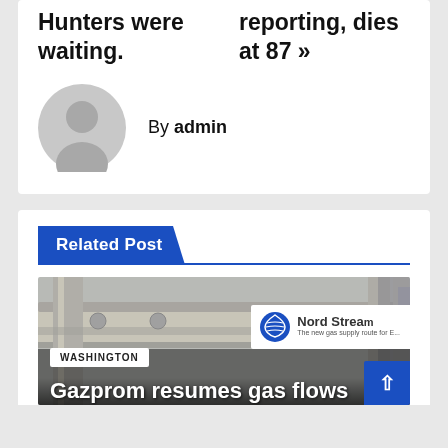Hunters were waiting.
reporting, dies at 87 »»
By admin
Related Post
[Figure (photo): Industrial gas pipeline photo with Nord Stream logo visible. WASHINGTON category tag overlaid at bottom left. Headline 'Gazprom resumes gas flows' at bottom.]
WASHINGTON
Gazprom resumes gas flows